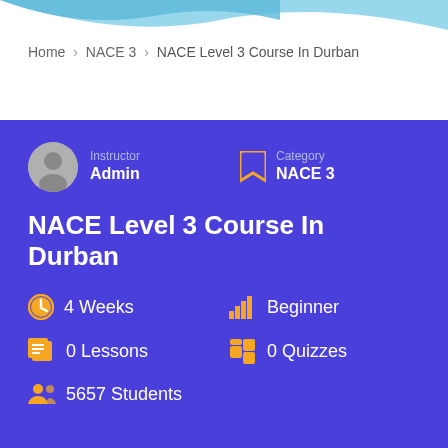Home > NACE 3 > NACE Level 3 Course In Durban
Instructor
Admin
Category
NACE 3
NACE Level 3 Course In Durban
4 Weeks
Beginner
0 Lessons
0 Quizzes
5657 Students